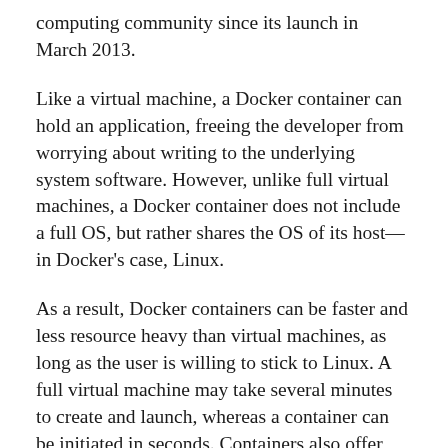computing community since its launch in March 2013.
Like a virtual machine, a Docker container can hold an application, freeing the developer from worrying about writing to the underlying system software. However, unlike full virtual machines, a Docker container does not include a full OS, but rather shares the OS of its host—in Docker's case, Linux.
As a result, Docker containers can be faster and less resource heavy than virtual machines, as long as the user is willing to stick to Linux. A full virtual machine may take several minutes to create and launch, whereas a container can be initiated in seconds. Containers also offer superior performance for the applications they contain, compared to